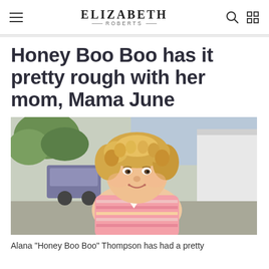ELIZABETH ROBERTS
Honey Boo Boo has it pretty rough with her mom, Mama June
[Figure (photo): A young girl with curly blonde hair wearing a pink and white striped shirt, smiling outdoors with trees, a car, and a white building in the background.]
Alana "Honey Boo Boo" Thompson has had a pretty